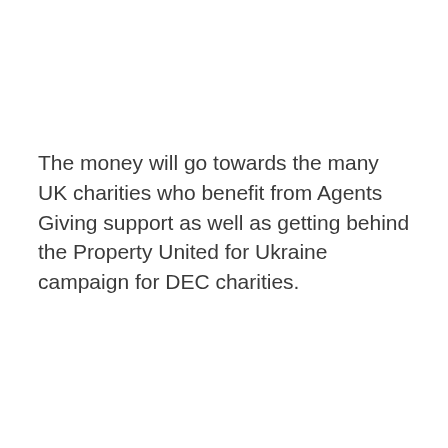The money will go towards the many UK charities who benefit from Agents Giving support as well as getting behind the Property United for Ukraine campaign for DEC charities.